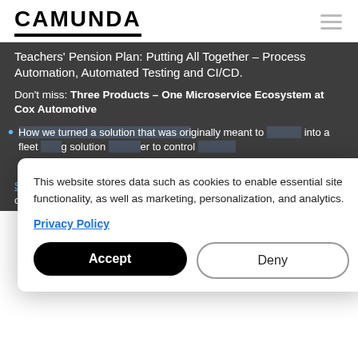CAMUNDA
Teachers' Pension Plan: Putting All Together – Process Automation, Automated Testing and CI/CD.
Don't miss: Three Products – One Microservice Ecosystem at Cox Automotive
How we turned a solution that was originally meant to [obscured by cookie modal] into a fleet [obscured] solution [obscured] to control [obscured]
[obscured] can move the deal handling [obscured] for new markets
This website stores data such as cookies to enable essential site functionality, as well as marketing, personalization, and analytics.
Privacy Policy
Accept
Deny
S[obscured] tion is completely free and you'll get access to a state of on-demand presentations after the conference. We bel